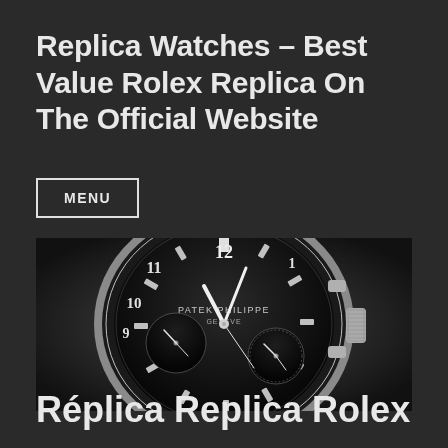Replica Watches – Best Value Rolex Replica On The Official Website
MENU
[Figure (photo): Close-up photograph of a Patek Philippe Geneve luxury watch with a dark/black chronograph dial, showing sub-dials, hands, and part of the silver case and crown.]
Réplica Replica Rolex